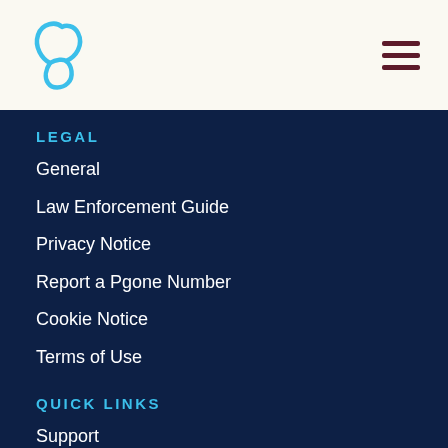LEGAL
General
Law Enforcement Guide
Privacy Notice
Report a Pgone Number
Cookie Notice
Terms of Use
QUICK LINKS
Support
Service Status
Developers
Resources
Security
Bl...